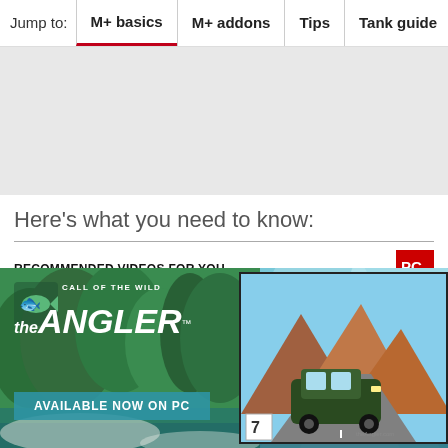Jump to: M+ basics | M+ addons | Tips | Tank guide | Hea
[Figure (other): Gray advertisement/placeholder area]
Here's what you need to know:
RECOMMENDED VIDEOS FOR YOU...
[Figure (screenshot): Video player area (dark background)]
[Figure (photo): Call of the Wild: The Angler game advertisement banner showing forest/nature background, game logo, 'AVAILABLE NOW ON PC' text, and box art with a jeep on a dirt road]